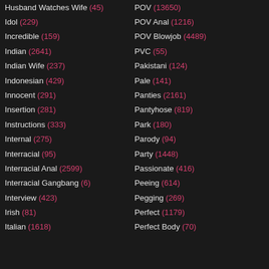Husband Watches Wife (45)
Idol (229)
Incredible (159)
Indian (2641)
Indian Wife (237)
Indonesian (429)
Innocent (291)
Insertion (281)
Instructions (333)
Internal (275)
Interracial (95)
Interracial Anal (2599)
Interracial Gangbang (6)
Interview (423)
Irish (81)
Italian (1618)
POV (13650)
POV Anal (1216)
POV Blowjob (4489)
PVC (55)
Pakistani (124)
Pale (141)
Panties (2161)
Pantyhose (819)
Park (180)
Parody (94)
Party (1448)
Passionate (416)
Peeing (614)
Pegging (269)
Perfect (1179)
Perfect Body (70)